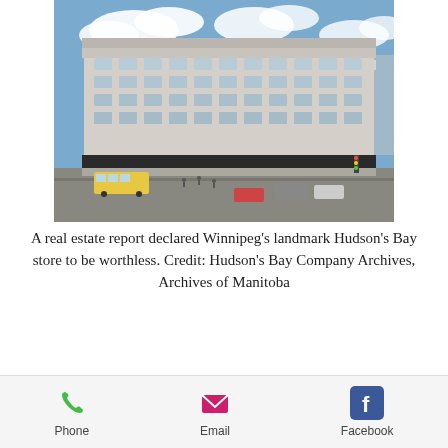[Figure (photo): Aerial/street-level view of Winnipeg's landmark Hudson's Bay store, a large multi-storey beige/white classical building at a busy intersection with cars and pedestrians visible, blue sky with clouds above.]
A real estate report declared Winnipeg's landmark Hudson's Bay store to be worthless. Credit: Hudson's Bay Company Archives, Archives of Manitoba
The accelerated closing was, like so much else, a result of the pandemic
Phone   Email   Facebook